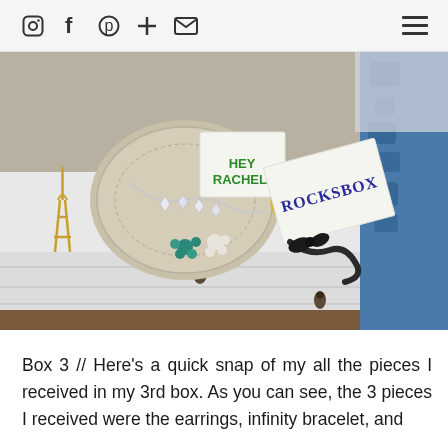Social media icons (Instagram, Facebook, Pinterest, Plus, Email) and hamburger menu
[Figure (photo): A Rocksbox jewelry subscription box on a white dresser, showing a card with 'HEY RACHEL!' in green text, a white box labeled 'ROCKSBOX' in dark blue handwriting tied with a black ribbon, crystal necklace, hoop earring, teal flower earrings, and gold Eiffel Tower charm, with blue patterned fabric in background.]
Box 3 // Here's a quick snap of my all the pieces I received in my 3rd box. As you can see, the 3 pieces I received were the earrings, infinity bracelet, and